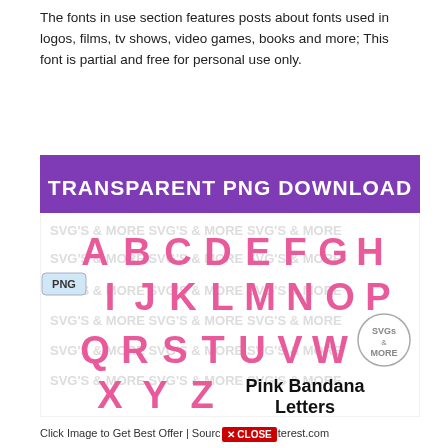The fonts in use section features posts about fonts used in logos, films, tv shows, video games, books and more; This font is partial and free for personal use only.
[Figure (illustration): Pink Bandana Letters font preview image on a white background with watermark 'SVG's & MORE'. Shows a purple banner at top reading 'TRANSPARENT PNG DOWNLOAD' and decorative pink bandana-patterned letters A through Z arranged in rows, with a blue 'PNG' label tag on the left side, a 'SVGs & MORE' circle stamp on the right, and bold text 'Pink Bandana Letters' at bottom right.]
Click Image to Get Best Offer | Source [CLOSE] terest.com